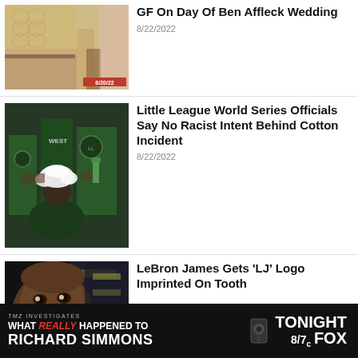[Figure (photo): Photo of people in a kitchen or venue setting, date badge 8/20/22]
GF On Day Of Ben Affleck Wedding
8/22/2022
[Figure (photo): Little League players in green uniforms with cotton on one player's head]
Little League World Series Officials Say No Racist Intent Behind Cotton Incident
8/22/2022
[Figure (photo): LeBron James close-up showing teeth, intense expression]
LeBron James Gets 'LJ' Logo Imprinted On Tooth
[Figure (photo): TMZ Investigates ad banner: What REALLY happened to Richard Simmons, Tonight 8/7c FOX]